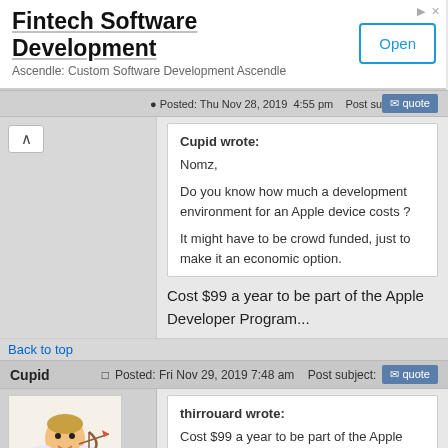[Figure (screenshot): Advertisement banner for Fintech Software Development by Ascendle with an Open button]
Posted: Thu Nov 28, 2019 4:55 pm   Post subject:
Cupid wrote:
Nomz,

Do you know how much a development environment for an Apple device costs ?

It might have to be crowd funded, just to make it an economic option.
Cost $99 a year to be part of the Apple Developer Program...
Back to top
Cupid
Posted: Fri Nov 29, 2019 7:48 am    Post subject:
[Figure (illustration): Cupid cartoon avatar - cherub character with bow and arrow]
Joined: 09 Aug 2007
Posts: 7128
thirrouard wrote:
Cost $99 a year to be part of the Apple Developer Program...
Does that include access to all the hardware and software required to support Apple devices?